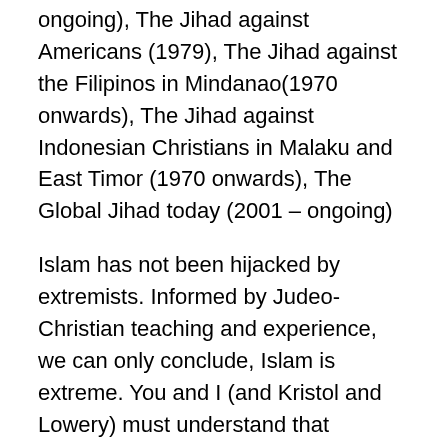ongoing), The Jihad against Americans (1979), The Jihad against the Filipinos in Mindanao(1970 onwards), The Jihad against Indonesian Christians in Malaku and East Timor (1970 onwards), The Global Jihad today (2001 – ongoing)
Islam has not been hijacked by extremists. Informed by Judeo-Christian teaching and experience, we can only conclude, Islam is extreme. You and I (and Kristol and Lowery) must understand that wherever Islam prevails, Shariah is the Law.
The present government of Egypt claims to be secular and not Shariah. But understand this, more than 80% of Egyptian women have been mutilated sexually (cliterectomy) in compliance with Shariah Law. Most of those women (and girls) live in slavery. Free elections will